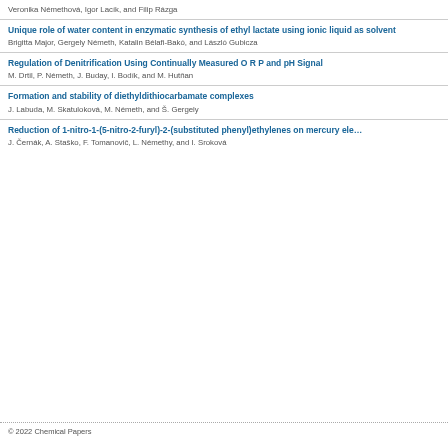Veronika Némethová, Igor Lacík, and Filip Rázga
Unique role of water content in enzymatic synthesis of ethyl lactate using ionic liquid as solvent
Brigitta Major, Gergely Németh, Katalin Bélafi-Bakó, and László Gubicza
Regulation of Denitrification Using Continually Measured O R P and pH Signal
M. Drtil, P. Németh, J. Buday, I. Bodík, and M. Hutňan
Formation and stability of diethyldithiocarbamate complexes
J. Labuda, M. Skatuloková, M. Németh, and Š. Gergely
Reduction of 1-nitro-1-(5-nitro-2-furyl)-2-(substituted phenyl)ethylenes on mercury ele…
J. Černák, A. Staško, F. Tomanovič, L. Némethy, and I. Sroková
© 2022 Chemical Papers